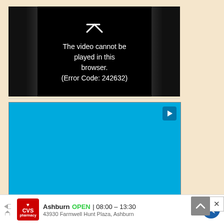[Figure (screenshot): Video player showing error message: The video cannot be played in this browser. (Error Code: 242632)]
[Figure (screenshot): Advertisement area with light blue background and Burlington store name partially visible at bottom]
[Figure (screenshot): Bottom ad bar showing CVS pharmacy logo, Ashburn location open 08:00-13:30, 43930 Farmwell Hunt Plaza Ashburn, with navigation icon]